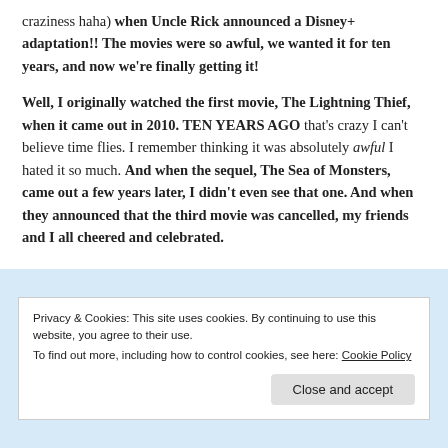craziness haha) when Uncle Rick announced a Disney+ adaptation!! The movies were so awful, we wanted it for ten years, and now we're finally getting it!
Well, I originally watched the first movie, The Lightning Thief, when it came out in 2010. TEN YEARS AGO that's crazy I can't believe time flies. I remember thinking it was absolutely awful I hated it so much. And when the sequel, The Sea of Monsters, came out a few years later, I didn't even see that one. And when they announced that the third movie was cancelled, my friends and I all cheered and celebrated.
Privacy & Cookies: This site uses cookies. By continuing to use this website, you agree to their use. To find out more, including how to control cookies, see here: Cookie Policy
Close and accept